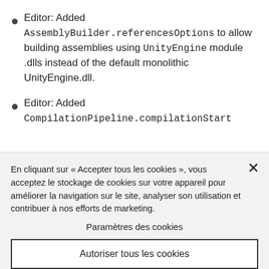Editor: Added AssemblyBuilder.referencesOptions to allow building assemblies using UnityEngine module .dlls instead of the default monolithic UnityEngine.dll.
Editor: Added CompilationPipeline.compilationStart
En cliquant sur « Accepter tous les cookies », vous acceptez le stockage de cookies sur votre appareil pour améliorer la navigation sur le site, analyser son utilisation et contribuer à nos efforts de marketing.
Paramètres des cookies
Autoriser tous les cookies